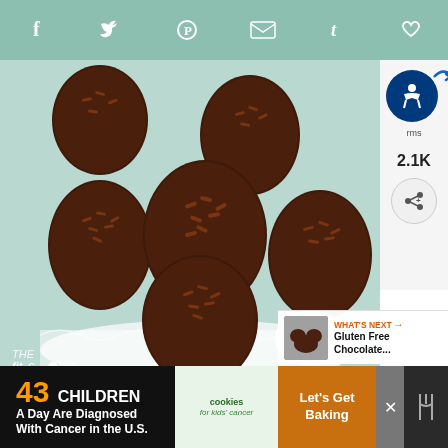[Figure (other): Social media sharing bar with icons: Facebook (f), Twitter bird, Pinterest (P), email envelope, Tumblr (t), heart/favorite. Sage green background.]
[Figure (photo): Overhead view of chocolate-dipped Easter egg shaped treats with chocolate sprinkles, arranged on a light blue cloth with a lace donut shape. Watermark reads: THE fit cookie]
[Figure (infographic): Sidebar with accessibility icon (blue circle with person figure), blue arrow, text 'rms', share count '2.1K', and share button]
[Figure (screenshot): What's Next promo box with small thumbnail and text: WHAT'S NEXT Gluten Free Chocolate...]
[Figure (infographic): Advertisement banner: '43 CHILDREN A Day Are Diagnosed With Cancer in the U.S.' with Cookies for Kids' Cancer logo and Let's Get Baking button]